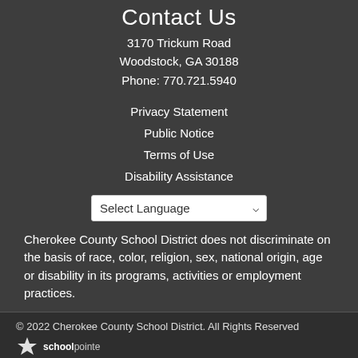Contact Us
3170 Trickum Road
Woodstock, GA 30188
Phone: 770.721.5940
Privacy Statement
Public Notice
Terms of Use
Disability Assistance
[Figure (screenshot): Select Language dropdown widget]
Cherokee County School District does not discriminate on the basis of race, color, religion, sex, national origin, age or disability in its programs, activities or employment practices.
Stay Connected
[Figure (infographic): Social media icons: Facebook, Twitter, YouTube, LinkedIn]
[Figure (logo): App icon with rocket/checkmark graphic on blue/purple gradient background]
© 2022 Cherokee County School District. All Rights Reserved
[Figure (logo): SchoolPointe logo with star icon]